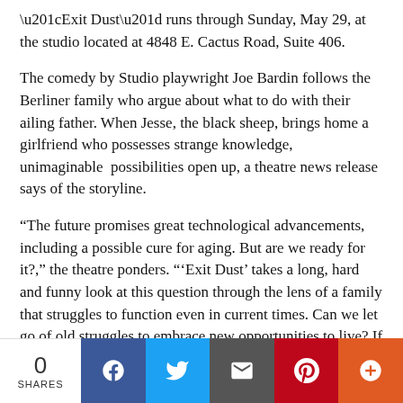“Exit Dust” runs through Sunday, May 29, at the studio located at 4848 E. Cactus Road, Suite 406.
The comedy by Studio playwright Joe Bardin follows the Berliner family who argue about what to do with their ailing father. When Jesse, the black sheep, brings home a girlfriend who possesses strange knowledge, unimaginable  possibilities open up, a theatre news release says of the storyline.
“The future promises great technological advancements, including a possible cure for aging. But are we ready for it?,” the theatre ponders. “‘Exit Dust’ takes a long, hard and funny look at this question through the lens of a family that struggles to function even in current times. Can we let go of old struggles to embrace new opportunities to live? If past wounds
0 SHARES